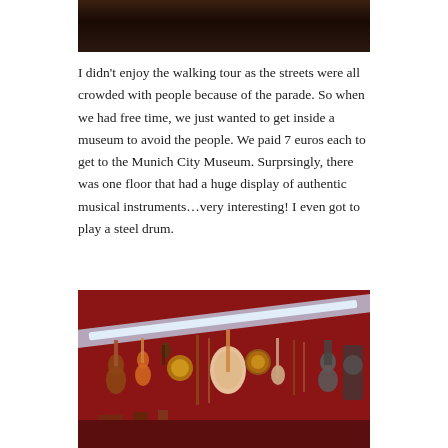[Figure (photo): Top portion of a photo showing a crowded street scene, partially cropped]
I didn't enjoy the walking tour as the streets were all crowded with people because of the parade. So when we had free time, we just wanted to get inside a museum to avoid the people. We paid 7 euros each to get to the Munich City Museum. Surprsingly, there was one floor that had a huge display of authentic musical instruments…very interesting! I even got to play a steel drum.
[Figure (photo): Interior of Munich City Museum showing a red wall covered with a large display of authentic musical instruments including guitars, lutes, drums, bagpipes, and other instruments, with a bright fluorescent light beam visible]